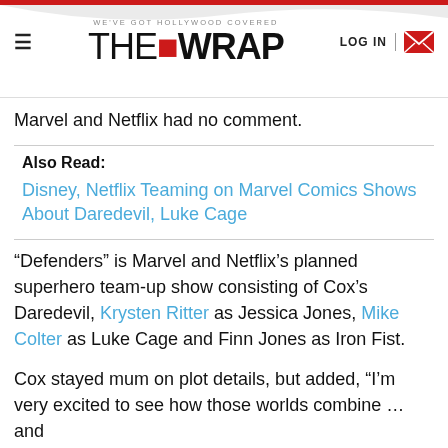WE'VE GOT HOLLYWOOD COVERED — THE WRAP | LOG IN
Marvel and Netflix had no comment.
Also Read:
Disney, Netflix Teaming on Marvel Comics Shows About Daredevil, Luke Cage
“Defenders” is Marvel and Netflix’s planned superhero team-up show consisting of Cox’s Daredevil, Krysten Ritter as Jessica Jones, Mike Colter as Luke Cage and Finn Jones as Iron Fist.
Cox stayed mum on plot details, but added, “I’m very excited to see how those worlds combine … and